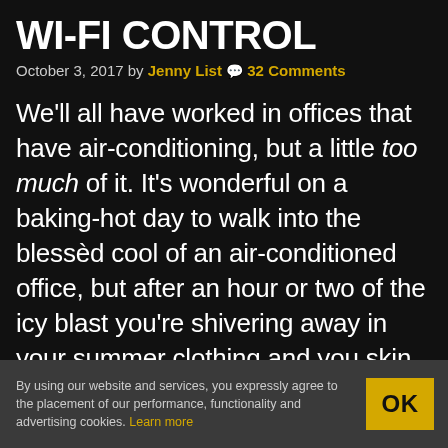WI-FI CONTROL
October 3, 2017 by Jenny List 💬 32 Comments
We'll all have worked in offices that have air-conditioning, but a little too much of it. It's wonderful on a baking-hot day to walk into the blessèd cool of an air-conditioned office, but after an hour or two of the icy blast you're shivering away in your summer clothing and you skin has dried out to a crisp. Meanwhile on the other side of the building [Ted] from Marketing has cranked up the whole system to
By using our website and services, you expressly agree to the placement of our performance, functionality and advertising cookies. Learn more